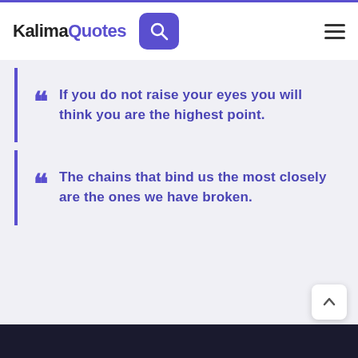KalimaQuotes
If you do not raise your eyes you will think you are the highest point.
The chains that bind us the most closely are the ones we have broken.